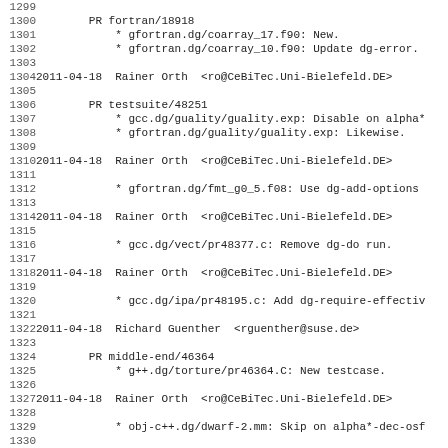Changelog / commit log entries for GCC testsuite, lines 1299-1330
1299
1300        PR fortran/18918
1301            * gfortran.dg/coarray_17.f90: New.
1302            * gfortran.dg/coarray_10.f90: Update dg-error.
1303
1304 2011-04-18  Rainer Orth  <ro@CeBiTec.Uni-Bielefeld.DE>
1305
1306        PR testsuite/48251
1307            * gcc.dg/guality/guality.exp: Disable on alpha*
1308            * gfortran.dg/guality/guality.exp: Likewise.
1309
1310 2011-04-18  Rainer Orth  <ro@CeBiTec.Uni-Bielefeld.DE>
1311
1312            * gfortran.dg/fmt_g0_5.f08: Use dg-add-options
1313
1314 2011-04-18  Rainer Orth  <ro@CeBiTec.Uni-Bielefeld.DE>
1315
1316            * gcc.dg/vect/pr48377.c: Remove dg-do run.
1317
1318 2011-04-18  Rainer Orth  <ro@CeBiTec.Uni-Bielefeld.DE>
1319
1320            * gcc.dg/ipa/pr48195.c: Add dg-require-effectiv
1321
1322 2011-04-18  Richard Guenther  <rguenther@suse.de>
1323
1324        PR middle-end/46364
1325            * g++.dg/torture/pr46364.C: New testcase.
1326
1327 2011-04-18  Rainer Orth  <ro@CeBiTec.Uni-Bielefeld.DE>
1328
1329            * obj-c++.dg/dwarf-2.mm: Skip on alpha*-dec-osf
1330